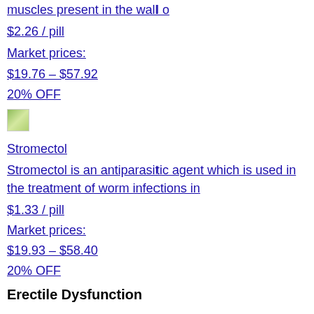muscles present in the wall o
$2.26 / pill
Market prices:
$19.76 – $57.92
20% OFF
[Figure (photo): Stromectol product image thumbnail]
Stromectol
Stromectol is an antiparasitic agent which is used in the treatment of worm infections in
$1.33 / pill
Market prices:
$19.93 – $58.40
20% OFF
Erectile Dysfunction